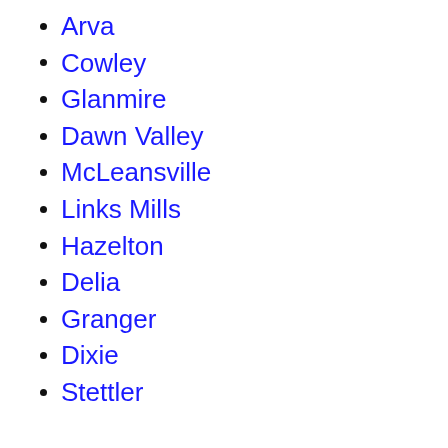Arva
Cowley
Glanmire
Dawn Valley
McLeansville
Links Mills
Hazelton
Delia
Granger
Dixie
Stettler